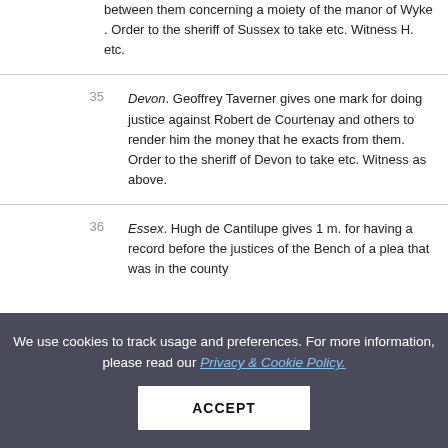between them concerning a moiety of the manor of Wyke. Order to the sheriff of Sussex to take etc. Witness H. etc.
35 Devon. Geoffrey Taverner gives one mark for doing justice against Robert de Courtenay and others to render him the money that he exacts from them. Order to the sheriff of Devon to take etc. Witness as above.
36 Essex. Hugh de Cantilupe gives 1 m. for having a record before the justices of the Bench of a plea that was in the county...
We use cookies to track usage and preferences. For more information, please read our Privacy & Cookie Policy.